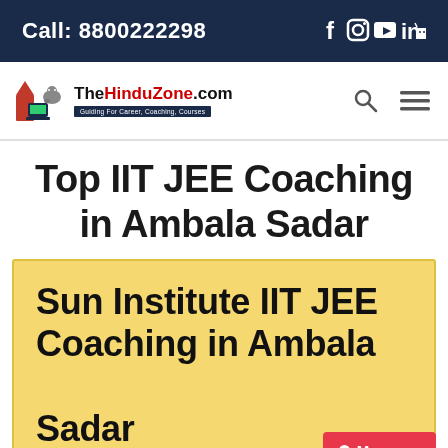Call: 8800222298
[Figure (logo): TheHinduZone.com logo with tagline Guiding For Career, Coaching, Courses]
Top IIT JEE Coaching in Ambala Sadar
Sun Institute IIT JEE Coaching in Ambala Sadar